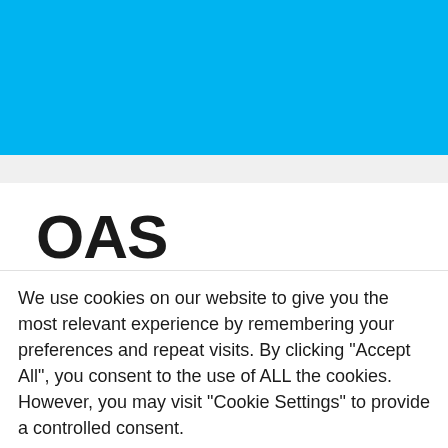[Figure (other): Solid bright blue (#00b4f0) header banner filling the top portion of the page]
OAS launches
We use cookies on our website to give you the most relevant experience by remembering your preferences and repeat visits. By clicking “Accept All”, you consent to the use of ALL the cookies. However, you may visit "Cookie Settings" to provide a controlled consent.